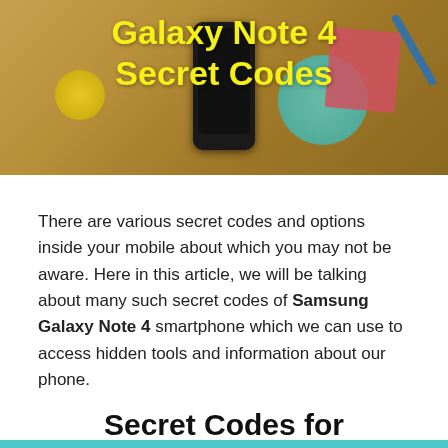[Figure (photo): Hero image with wooden desk background showing a Samsung smartphone, sticky notes, and colored pencils. Yellow bold text reads 'Galaxy Note 4 Secret Codes' overlaid on the image.]
There are various secret codes and options inside your mobile about which you may not be aware. Here in this article, we will be talking about many such secret codes of Samsung Galaxy Note 4 smartphone which we can use to access hidden tools and information about our phone.
Secret Codes for Samsung Galaxy Note 4